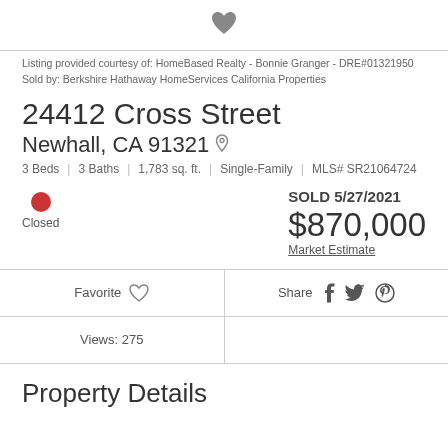[Figure (illustration): Dark grey filled heart icon centered at top of page]
Listing provided courtesy of: HomeBased Realty - Bonnie Granger - DRE#01321950
Sold by: Berkshire Hathaway HomeServices California Properties
24412 Cross Street
Newhall, CA 91321
3 Beds | 3 Baths | 1,783 sq. ft. | Single-Family | MLS# SR21064724
Closed
SOLD 5/27/2021
$870,000
Market Estimate
Favorite   Share
Views: 275
Property Details